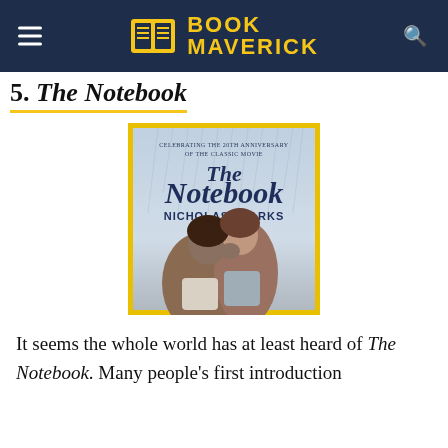Book Maverick
5. The Notebook
[Figure (photo): Book cover of The Notebook by Nicholas Sparks, 20th anniversary edition. Shows a couple in the rain about to kiss, with a yellow border.]
It seems the whole world has at least heard of The Notebook. Many people's first introduction